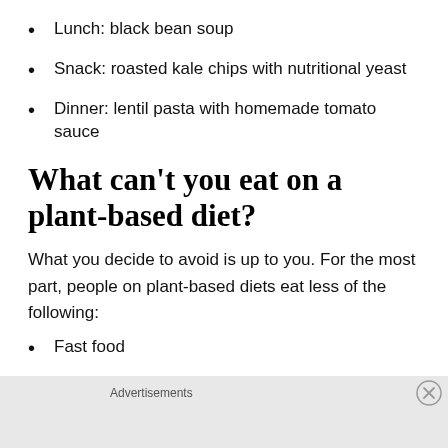Lunch: black bean soup
Snack: roasted kale chips with nutritional yeast
Dinner: lentil pasta with homemade tomato sauce
What can't you eat on a plant-based diet?
What you decide to avoid is up to you. For the most part, people on plant-based diets eat less of the following:
Fast food
Advertisements